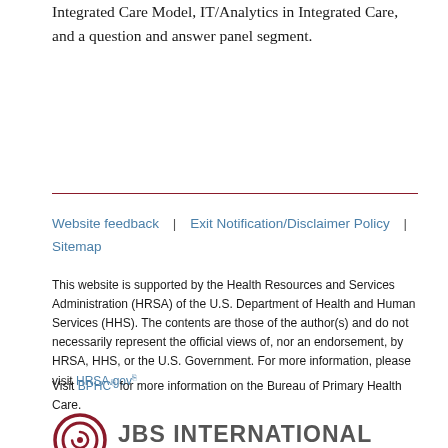Integrated Care Model, IT/Analytics in Integrated Care, and a question and answer panel segment.
Website feedback | Exit Notification/Disclaimer Policy | Sitemap
This website is supported by the Health Resources and Services Administration (HRSA) of the U.S. Department of Health and Human Services (HHS). The contents are those of the author(s) and do not necessarily represent the official views of, nor an endorsement, by HRSA, HHS, or the U.S. Government. For more information, please visit HRSA.gov.
Visit BPHC for more information on the Bureau of Primary Health Care.
[Figure (logo): JBS International, A Celerian Group Company logo with circular spiral mark in dark red]